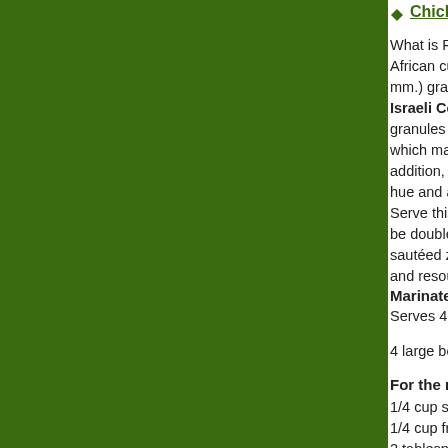[Figure (photo): Green background panel occupying left ~87% of the page]
Chicken Couscous (link/logo)
What is Pearl Cous... African cuisine.  No... mm.) granules of s... Israeli Couscous ... granules are much... which makes pearl... addition, pearl cous... hue and a satisfyin...
Serve this dish for... be doubled to feed... sautéed zucchini o... and resourceful wit...
Marinated Chicke...
Serves 4-6
4 large boneless ch...
For the marinade:
1/4 cup soy sauce
1/4 cup freshly squ...
2 tablespoons outr...